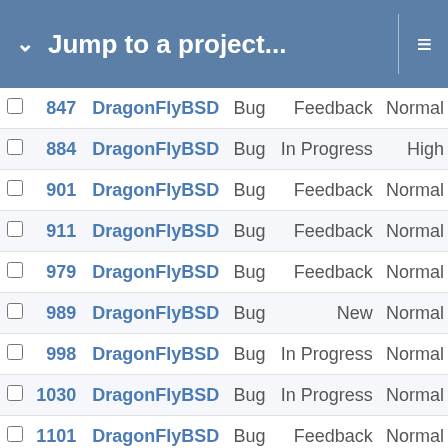Jump to a project...
|  | # | Project | Type | Status | Priority |
| --- | --- | --- | --- | --- | --- |
|  | 847 | DragonFlyBSD | Bug | Feedback | Normal |
|  | 884 | DragonFlyBSD | Bug | In Progress | High |
|  | 901 | DragonFlyBSD | Bug | Feedback | Normal |
|  | 911 | DragonFlyBSD | Bug | Feedback | Normal |
|  | 979 | DragonFlyBSD | Bug | Feedback | Normal |
|  | 989 | DragonFlyBSD | Bug | New | Normal |
|  | 998 | DragonFlyBSD | Bug | In Progress | Normal |
|  | 1030 | DragonFlyBSD | Bug | In Progress | Normal |
|  | 1101 | DragonFlyBSD | Bug | Feedback | Normal |
|  | 1127 | DragonFlyBSD | Bug | Feedback | Low |
|  | 1144 | DragonFlyBSD | Bug | Feedback | Normal |